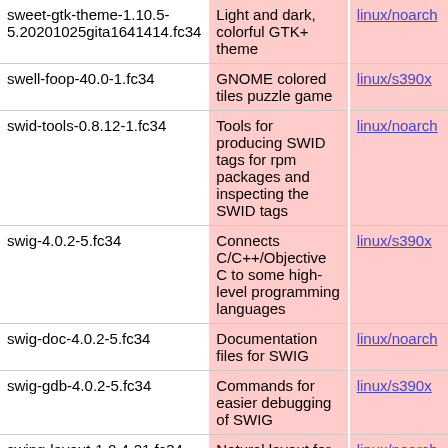| Package | Description | Arch |
| --- | --- | --- |
| sweet-gtk-theme-1.10.5-5.20201025gita1641414.fc34 | Light and dark, colorful GTK+ theme | linux/noarch |
| swell-foop-40.0-1.fc34 | GNOME colored tiles puzzle game | linux/s390x |
| swid-tools-0.8.12-1.fc34 | Tools for producing SWID tags for rpm packages and inspecting the SWID tags | linux/noarch |
| swig-4.0.2-5.fc34 | Connects C/C++/Objective C to some high-level programming languages | linux/s390x |
| swig-doc-4.0.2-5.fc34 | Documentation files for SWIG | linux/noarch |
| swig-gdb-4.0.2-5.fc34 | Commands for easier debugging of SWIG | linux/s390x |
| swing-layout-1.0.4-21.fc34 | Natural layout for Swing panels | linux/noarch |
| switchboard-2.4.0-5.20210217gitad5546c.fc34 | Modular Desktop Settings Hub | linux/s390x |
|  | Modular Desktop... |  |